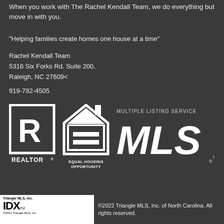When you work with The Rachel Kendall Team, we do everything but move in with you.
"Helping families create homes one house at a time"
Rachel Kendall Team
5316 Six Forks Rd. Suite 200,
Raleigh, NC 27609<
919-782-4505
[Figure (logo): Three logos: REALTOR R logo, Equal Housing Opportunity logo, and Multiple Listing Service MLS logo, all in white on dark background]
[Figure (logo): IDX logo with Triangle MLS, Inc. branding in white box]
©2022 Triangle MLS, Inc. of North Carolina. All rights reserved.